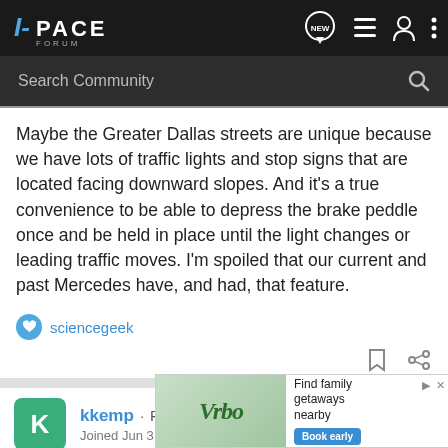I-PACE FORUM
Maybe the Greater Dallas streets are unique because we have lots of traffic lights and stop signs that are located facing downward slopes. And it's a true convenience to be able to depress the brake peddle once and be held in place until the light changes or leading traffic moves. I'm spoiled that our current and past Mercedes have, and had, that feature.
sciencegeek
kkemp · Registered
Joined Jun 3, 2019 · 231 Posts
#16 · De...
[Figure (screenshot): Vrbo advertisement: Find family getaways nearby with Book early button]